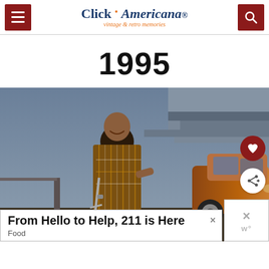Click Americana – vintage & retro memories
1995
[Figure (photo): A smiling woman in a patterned outfit standing beside an orange/copper car under a highway overpass, using a forearm crutch. 1995 era photo.]
From Hello to Help, 211 is Here
Food